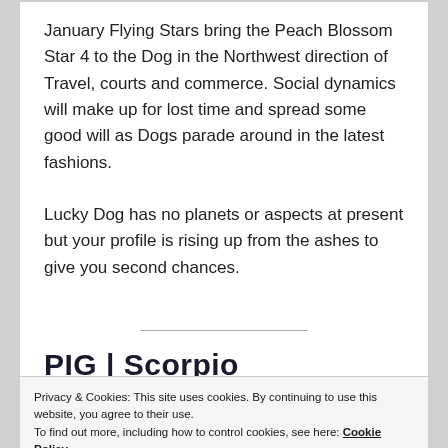January Flying Stars bring the Peach Blossom Star 4 to the Dog in the Northwest direction of Travel, courts and commerce. Social dynamics will make up for lost time and spread some good will as Dogs parade around in the latest fashions.
Lucky Dog has no planets or aspects at present but your profile is rising up from the ashes to give you second chances.
PIG | Scorpio
Privacy & Cookies: This site uses cookies. By continuing to use this website, you agree to their use.
To find out more, including how to control cookies, see here: Cookie Policy